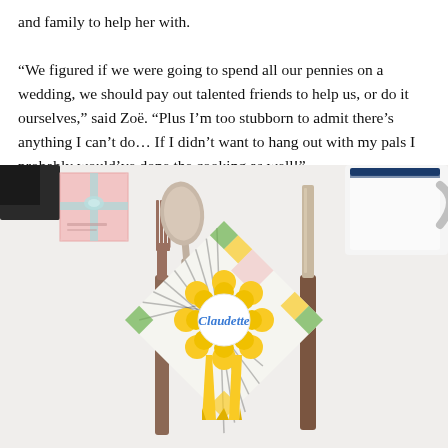and family to help her with.

“We figured if we were going to spend all our pennies on a wedding, we should pay out talented friends to help us, or do it ourselves,” said Zoë. “Plus I’m too stubborn to admit there’s anything I can’t do… If I didn’t want to hang out with my pals I probably would’ve done the cooking as well!”
[Figure (photo): Overhead view of a white tablecloth wedding place setting featuring a fork on the left, a spoon in the upper center, a knife on the right, an enamel mug in the upper right, a small pink gift box with a ribbon in the upper left, a colorful patterned place card with a yellow rosette ribbon reading 'Claudette' in the center.]